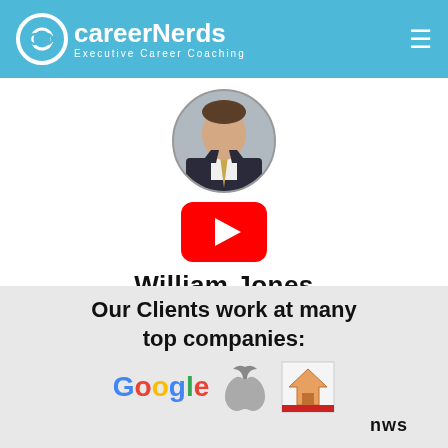CareerNerds Executive Career Coaching
[Figure (photo): Profile photo of a man in a business suit and gold tie, cropped in a circle]
[Figure (other): YouTube play button icon — red rounded rectangle with white triangle]
William Jones
USNA '90
Bus. Development Partner, Kyndryl
[Figure (infographic): Light gray banner reading 'Our Clients work at many top companies:' with Google, Apple, and another company logo below]